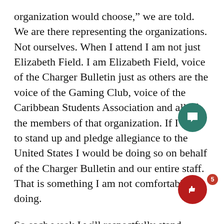organization would choose," we are told. We are there representing the organizations. Not ourselves. When I attend I am not just Elizabeth Field. I am Elizabeth Field, voice of the Charger Bulletin just as others are the voice of the Gaming Club, voice of the Caribbean Students Association and all of the members of that organization. If I were to stand up and pledge allegiance to the United States I would be doing so on behalf of the Charger Bulletin and our entire staff. That is something I am not comfortable doing.
So each week I will respectfully stand, however, I will not be reciting the pledge. I will be saying a silent prayer to whichever God(s) I choose. I will pray for the well-being and safe return of our American troops who are overseas risking their lives to preserve my freedom and liberty to NOT to be forced into reciting an oath forced upon me and my peers